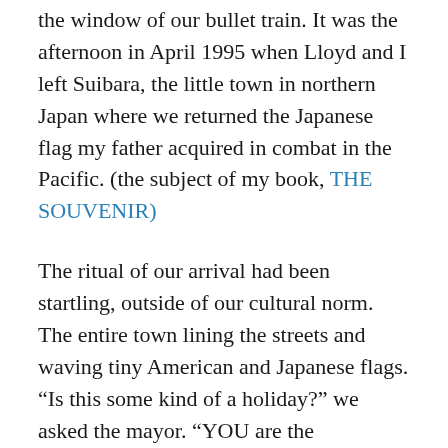the window of our bullet train. It was the afternoon in April 1995 when Lloyd and I left Suibara, the little town in northern Japan where we returned the Japanese flag my father acquired in combat in the Pacific. (the subject of my book, THE SOUVENIR)
The ritual of our arrival had been startling, outside of our cultural norm. The entire town lining the streets and waving tiny American and Japanese flags. “Is this some kind of a holiday?” we asked the mayor. “YOU are the occasion,” he replied with a chuckle.
After the sober and awesome ceremony of returning the flag to the Shimizu family, after listening to stories about young Yoshio, who had died in battle at age 21… after the elaborate feast of sushi and sake, after our visit to Lake Hyoko to meet the Swan Uncle, the guardian of Suibara’s